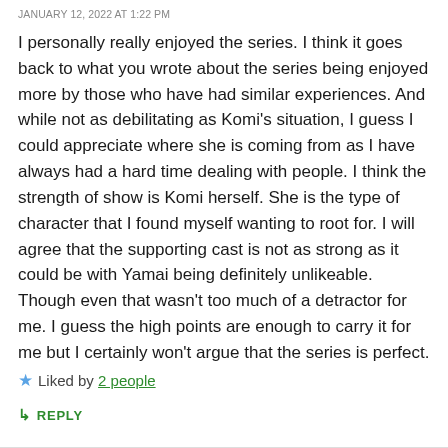JANUARY 12, 2022 AT 1:22 PM
I personally really enjoyed the series. I think it goes back to what you wrote about the series being enjoyed more by those who have had similar experiences. And while not as debilitating as Komi’s situation, I guess I could appreciate where she is coming from as I have always had a hard time dealing with people. I think the strength of show is Komi herself. She is the type of character that I found myself wanting to root for. I will agree that the supporting cast is not as strong as it could be with Yamai being definitely unlikeable. Though even that wasn’t too much of a detractor for me. I guess the high points are enough to carry it for me but I certainly won’t argue that the series is perfect.
★ Liked by 2 people
↳ REPLY